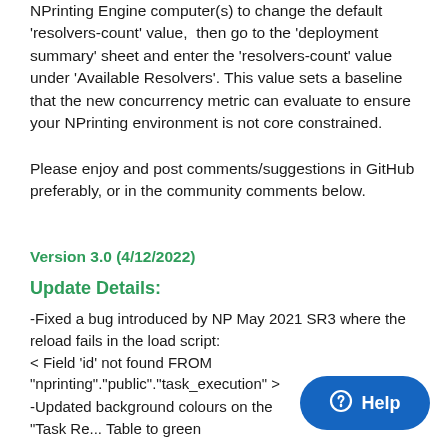NPrinting Engine computer(s) to change the default 'resolvers-count' value,  then go to the 'deployment summary' sheet and enter the 'resolvers-count' value under 'Available Resolvers'. This value sets a baseline that the new concurrency metric can evaluate to ensure your NPrinting environment is not core constrained.
Please enjoy and post comments/suggestions in GitHub preferably, or in the community comments below.
Version 3.0 (4/12/2022)
Update Details:
-Fixed a bug introduced by NP May 2021 SR3 where the reload fails in the load script:
< Field 'id' not found FROM "nprinting"."public"."task_execution" >
-Updated background colours on the "Task Re... Table to green